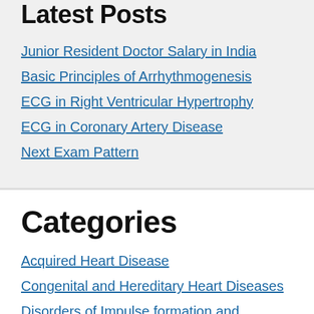Latest Posts
Junior Resident Doctor Salary in India
Basic Principles of Arrhythmogenesis
ECG in Right Ventricular Hypertrophy
ECG in Coronary Artery Disease
Next Exam Pattern
Categories
Acquired Heart Disease
Congenital and Hereditary Heart Diseases
Disorders of Impulse formation and